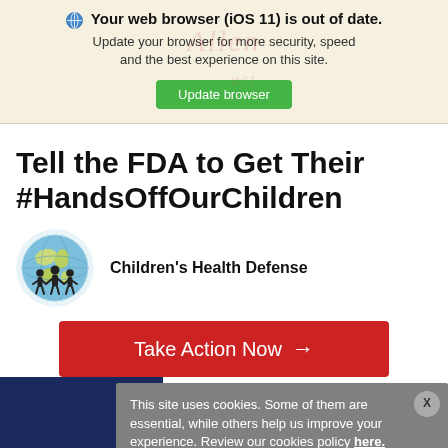Your web browser (iOS 11) is out of date. Update your browser for more security, speed and the best experience on this site. Update browser
Tell the FDA to Get Their #HandsOffOurChildren
[Figure (logo): Children's Health Defense globe logo with children silhouettes holding hands around a globe]
Children's Health Defense
Take Action Now →
This site uses cookies. Some of them are essential, while others help us improve your experience. Review our cookies policy here.